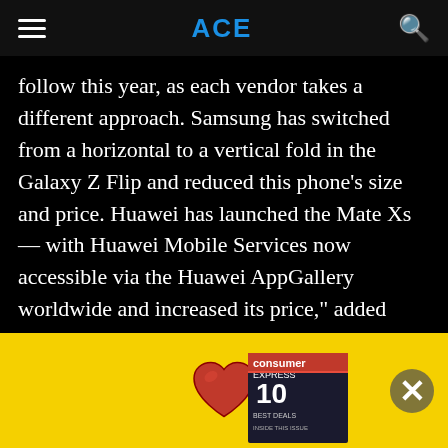ACE
follow this year, as each vendor takes a different approach. Samsung has switched from a horizontal to a vertical fold in the Galaxy Z Flip and reduced this phone’s size and price. Huawei has launched the Mate Xs — with Huawei Mobile Services now accessible via the Huawei AppGallery worldwide and increased its price,” added Gupta.
Huawei experienced the highest growth in 2019 with an overall annual increase of 18.6 per cent. This helped it secure the number two spot for the year ahead of Apple. While facing constraints globally from the U.S.
[Figure (other): Yellow advertisement banner with a red heart icon in the center and an Express magazine cover image on the right side. An X close button appears over the banner.]